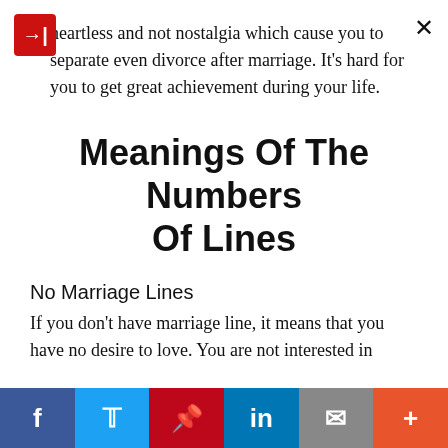heartless and not nostalgia which cause you to separate even divorce after marriage. It's hard for you to get great achievement during your life.
Meanings Of The Numbers Of Lines
No Marriage Lines
If you don't have marriage line, it means that you have no desire to love. You are not interested in